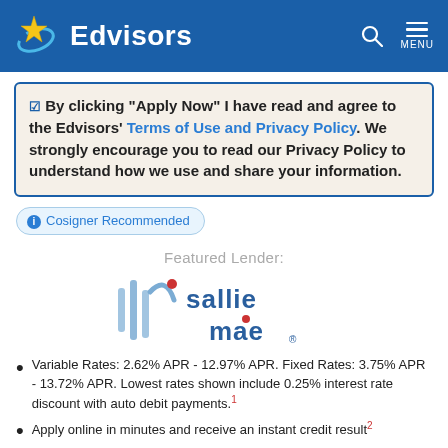Edvisors
By clicking "Apply Now" I have read and agree to the Edvisors' Terms of Use and Privacy Policy. We strongly encourage you to read our Privacy Policy to understand how we use and share your information.
Cosigner Recommended
Featured Lender:
[Figure (logo): Sallie Mae logo with stylized vertical bars and cursive arc]
Variable Rates: 2.62% APR - 12.97% APR. Fixed Rates: 3.75% APR - 13.72% APR. Lowest rates shown include 0.25% interest rate discount with auto debit payments.1
Apply online in minutes and receive an instant credit result2